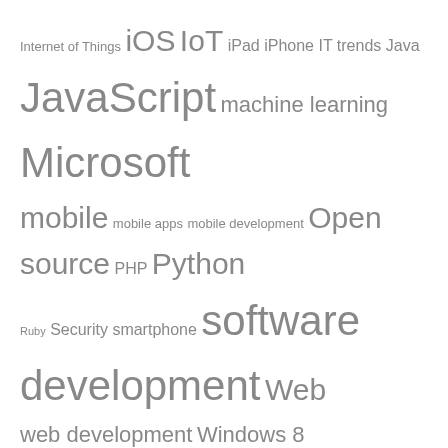[Figure (other): Tag cloud with technology-related keywords in varying font sizes and gray colors: Internet of Things, iOS, IoT, iPad, iPhone, IT trends, Java, JavaScript, machine learning, Microsoft, mobile, mobile apps, mobile development, Open source, PHP, Python, Ruby, Security, smartphone, software development, Web, web development, Windows 8]
Categories
Select Category
Archives
Select Month